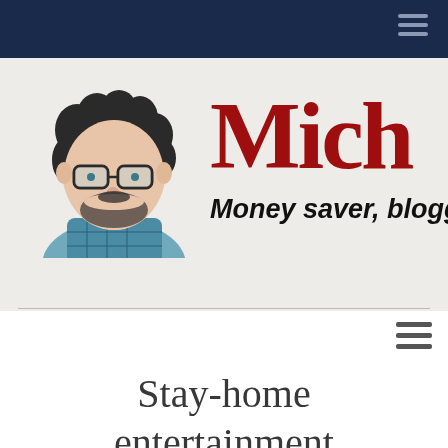[Figure (illustration): Illustrated cartoon portrait of a bearded man with glasses and curly dark hair wearing a plaid shirt]
Mich
Money saver, blogge
Stay-home entertainment